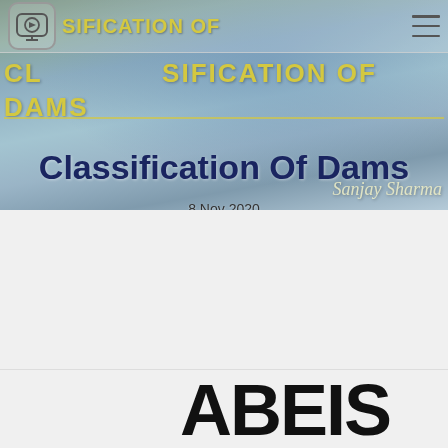[Figure (photo): Hero banner photo of a large dam with water flowing, green hillsides, blue reservoir lake in background, misty atmosphere. Website navigation overlay with logo icon, yellow bold text 'CLASSIFICATION OF DAMS', hamburger menu icon.]
Classification Of Dams
8 Nov 2020
Sanjay Sharma
Loading [MathJax]/extensions/tex2jax.js
ANALYSIS